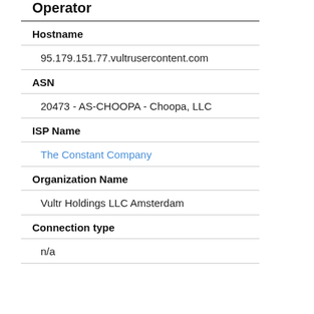Hostname
95.179.151.77.vultrusercontent.com
ASN
20473 - AS-CHOOPA - Choopa, LLC
ISP Name
The Constant Company
Organization Name
Vultr Holdings LLC Amsterdam
Connection type
n/a